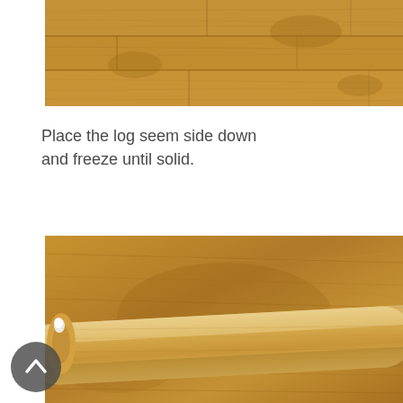[Figure (photo): Close-up of a wooden butcher block or cutting board surface showing wood grain texture in warm brown tones.]
Place the log seem side down and freeze until solid.
[Figure (photo): A rolled log of dough or food item placed on a wooden cutting board, with the end of the log visible showing some filling, on a warm brown wood grain surface.]